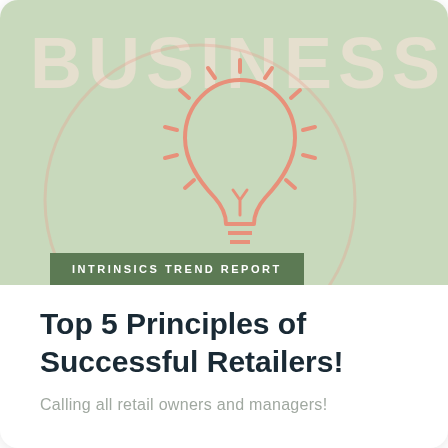[Figure (illustration): Green background banner image with large decorative text 'BUSINESS' at the top in cream/off-white color, and a light salmon/pink outlined lightbulb icon with radiating lines in the center-right area. An olive/forest green badge overlay at the bottom left reads 'INTRINSICS TREND REPORT' in white uppercase letters.]
Top 5 Principles of Successful Retailers!
Calling all retail owners and managers!